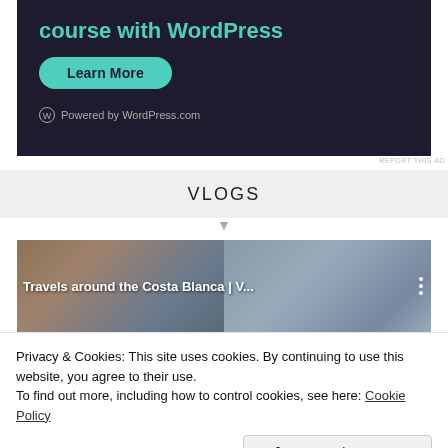[Figure (screenshot): Dark-themed advertisement banner for WordPress course with 'Learn More' button and 'Powered by WordPress.com' tagline]
REPORT THIS AD
VLOGS
[Figure (screenshot): Video strip showing 'Travels around the Costa Blanca | V...' with two split travel photos]
Privacy & Cookies: This site uses cookies. By continuing to use this website, you agree to their use.
To find out more, including how to control cookies, see here: Cookie Policy
Close and accept
REPORT THIS AD